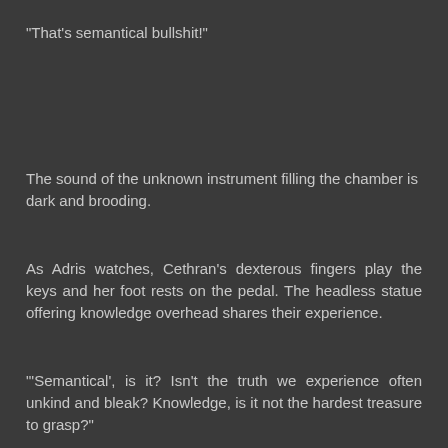“That’s semantical bullshit!”
The sound of the unknown instrument filling the chamber is dark and brooding.
As Adris watches, Cethran’s dexterous fingers play the keys and her foot rests on the pedal. The headless statue offering knowledge overhead shares their experience.
“‘Semantical’, is it? Isn’t the truth we experience often unkind and bleak? Knowledge, is it not the hardest treasure to grasp?”